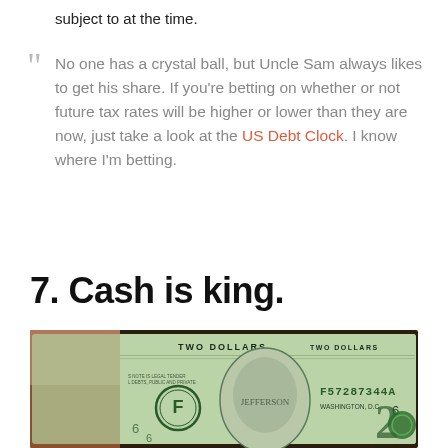subject to at the time.
No one has a crystal ball, but Uncle Sam always likes to get his share. If you're betting on whether or not future tax rates will be higher or lower than they are now, just take a look at the US Debt Clock. I know where I'm betting.
7. Cash is king.
[Figure (photo): A close-up photograph of a US two-dollar bill being held, showing the front with Thomas Jefferson portrait, serial number F57287344A, 'TWO DOLLARS' text, and Washington D.C. label.]